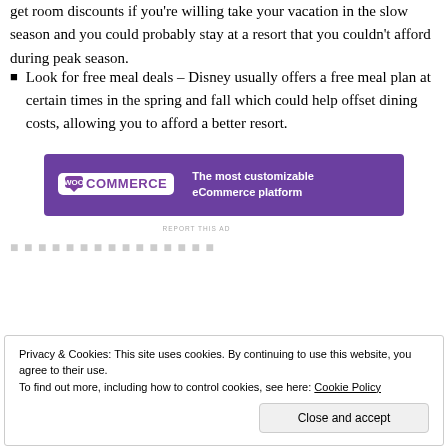get room discounts if you're willing take your vacation in the slow season and you could probably stay at a resort that you couldn't afford during peak season.
Look for free meal deals – Disney usually offers a free meal plan at certain times in the spring and fall which could help offset dining costs, allowing you to afford a better resort.
[Figure (other): WooCommerce advertisement banner: purple background with WooCommerce logo on left and tagline 'The most customizable eCommerce platform' on right]
REPORT THIS AD
Privacy & Cookies: This site uses cookies. By continuing to use this website, you agree to their use.
To find out more, including how to control cookies, see here: Cookie Policy
Close and accept